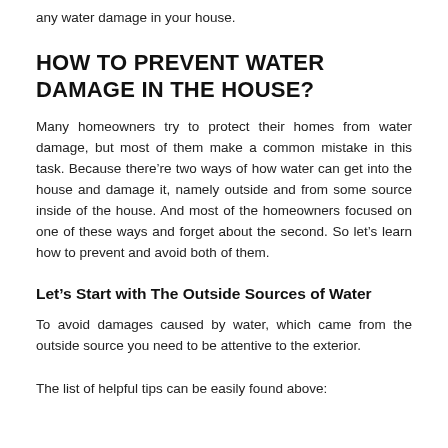any water damage in your house.
HOW TO PREVENT WATER DAMAGE IN THE HOUSE?
Many homeowners try to protect their homes from water damage, but most of them make a common mistake in this task. Because there’re two ways of how water can get into the house and damage it, namely outside and from some source inside of the house. And most of the homeowners focused on one of these ways and forget about the second. So let’s learn how to prevent and avoid both of them.
Let’s Start with The Outside Sources of Water
To avoid damages caused by water, which came from the outside source you need to be attentive to the exterior.
The list of helpful tips can be easily found above: